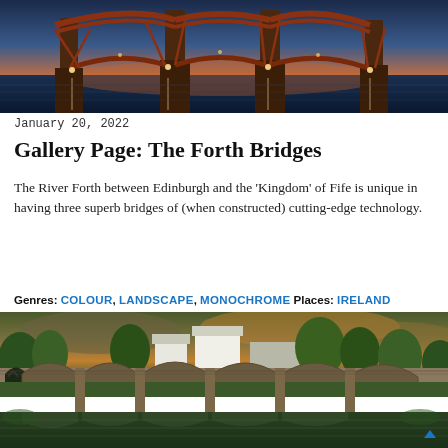[Figure (photo): Forth Rail Bridge at dusk/sunset, a large red cantilever railway bridge reflected in water, illuminated with golden lights]
January 20, 2022
Gallery Page: The Forth Bridges
The River Forth between Edinburgh and the 'Kingdom' of Fife is unique in having three superb bridges of (when constructed) cutting-edge technology.
Genres: COLOUR, LANDSCAPE, MONOCHROME Places: IRELAND
[Figure (photo): Stone arch bridge in Ireland with multiple arches over a river, buildings and trees in background at sunset]